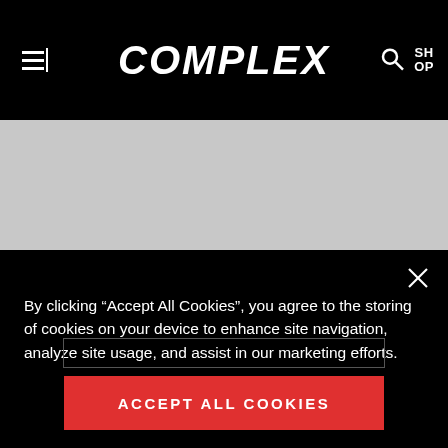COMPLEX
[Figure (screenshot): Gray placeholder content area below the header]
By clicking “Accept All Cookies”, you agree to the storing of cookies on your device to enhance site navigation, analyze site usage, and assist in our marketing efforts.
ACCEPT ALL COOKIES